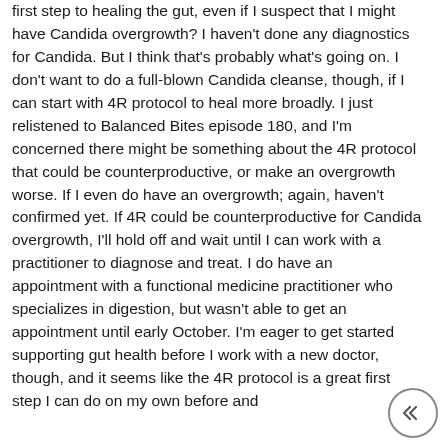first step to healing the gut, even if I suspect that I might have Candida overgrowth? I haven't done any diagnostics for Candida. But I think that's probably what's going on. I don't want to do a full-blown Candida cleanse, though, if I can start with 4R protocol to heal more broadly. I just relistened to Balanced Bites episode 180, and I'm concerned there might be something about the 4R protocol that could be counterproductive, or make an overgrowth worse. If I even do have an overgrowth; again, haven't confirmed yet. If 4R could be counterproductive for Candida overgrowth, I'll hold off and wait until I can work with a practitioner to diagnose and treat. I do have an appointment with a functional medicine practitioner who specializes in digestion, but wasn't able to get an appointment until early October. I'm eager to get started supporting gut health before I work with a new doctor, though, and it seems like the 4R protocol is a great first step I can do on my own before and